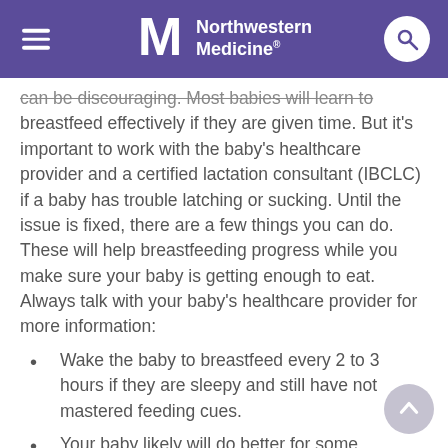Northwestern Medicine
can be discouraging. Most babies will learn to breastfeed effectively if they are given time. But it's important to work with the baby's healthcare provider and a certified lactation consultant (IBCLC) if a baby has trouble latching or sucking. Until the issue is fixed, there are a few things you can do. These will help breastfeeding progress while you make sure your baby is getting enough to eat. Always talk with your baby's healthcare provider for more information:
Wake the baby to breastfeed every 2 to 3 hours if they are sleepy and still have not mastered feeding cues.
Your baby likely will do better for some feedings. Don't be discouraged if they are